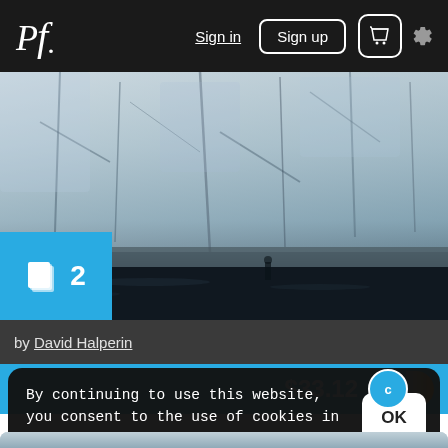Pf. Sign in Sign up 🛒 ⚙
[Figure (photo): Close-up photograph of a glacier face with blue-grey ice and rock textures, dark water at the bottom. A cyan badge with stacked pages icon and number 2 is overlaid at bottom-left.]
by David Halperin
$33.12
By continuing to use this website, you consent to the use of cookies in accordance with our Cookie Policy.
OK